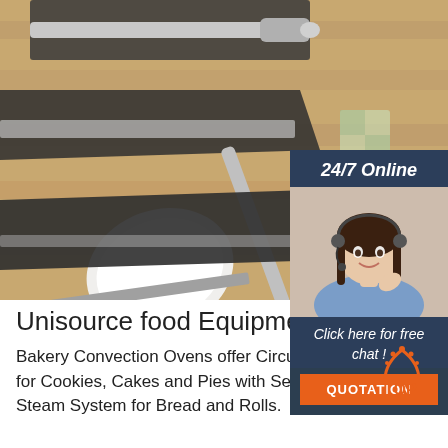[Figure (photo): Kitchen utensils including a white ceramic spatula/spoon and stainless steel tools arranged on a wooden surface with dark mat placemats]
[Figure (infographic): Chat widget overlay with dark blue background showing '24/7 Online' header, customer service representative with headset, 'Click here for free chat!' text, and orange QUOTATION button]
Unisource food Equipment
Bakery Convection Ovens offer Circulating Air System for Cookies, Cakes and Pies with Self-Contained Steam System for Bread and Rolls.